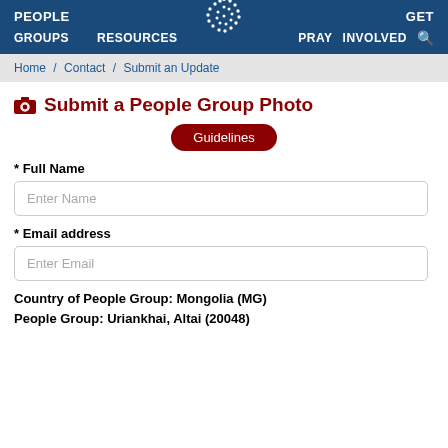PEOPLE  GROUPS  RESOURCES  GET  PRAY  INVOLVED
Home / Contact / Submit an Update
Submit a People Group Photo
Guidelines
* Full Name
Enter Name
* Email address
Enter Email
Country of People Group:  Mongolia (MG)
People Group:  Uriankhai, Altai (20048)